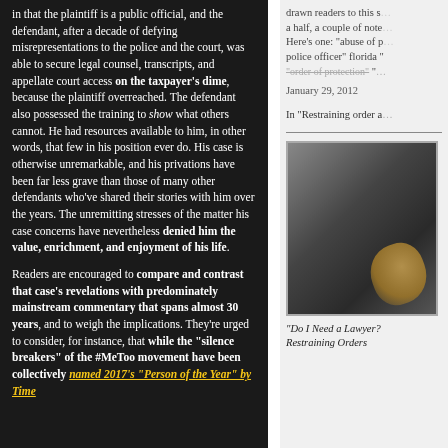in that the plaintiff is a public official, and the defendant, after a decade of defying misrepresentations to the police and the court, was able to secure legal counsel, transcripts, and appellate court access on the taxpayer's dime, because the plaintiff overreached. The defendant also possessed the training to show what others cannot. He had resources available to him, in other words, that few in his position ever do. His case is otherwise unremarkable, and his privations have been far less grave than those of many other defendants who've shared their stories with him over the years. The unremitting stresses of the matter his case concerns have nevertheless denied him the value, enrichment, and enjoyment of his life.
Readers are encouraged to compare and contrast that case's revelations with predominately mainstream commentary that spans almost 30 years, and to weigh the implications. They're urged to consider, for instance, that while the "silence breakers" of the #MeToo movement have been collectively named 2017's "Person of the Year" by Time
drawn readers to this s... a half, a couple of note... Here's one: "abuse of p... police officer" florida "...order of protection"... January 29, 2012
In "Restraining order a...
[Figure (photo): Dark background photo showing what appears to be a partially visible figure or object with a golden/amber colored curved shape, likely a person or sculpture]
"Do I Need a Lawyer? Restraining Orders